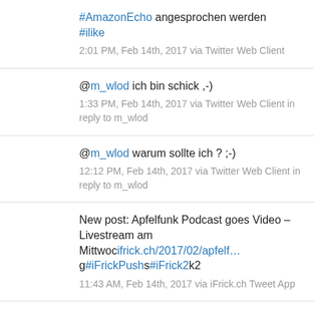#AmazonEcho angesprochen werden #ilike
2:01 PM, Feb 14th, 2017 via Twitter Web Client
@m_wlod ich bin schick ,-)
1:33 PM, Feb 14th, 2017 via Twitter Web Client in reply to m_wlod
@m_wlod warum sollte ich ? ;-)
12:12 PM, Feb 14th, 2017 via Twitter Web Client in reply to m_wlod
New post: Apfelfunk Podcast goes Video – Livestream am Mittwocifrick.ch/2017/02/apfelf… g#iFrickPushs#iFrick2k2
11:43 AM, Feb 14th, 2017 via iFrick.ch Tweet App
Warum Snapchat gegen Facebook keine Chance hat soamp.li/1WSA
10:38 AM, Feb 14th, 2017 via SoAmpli App